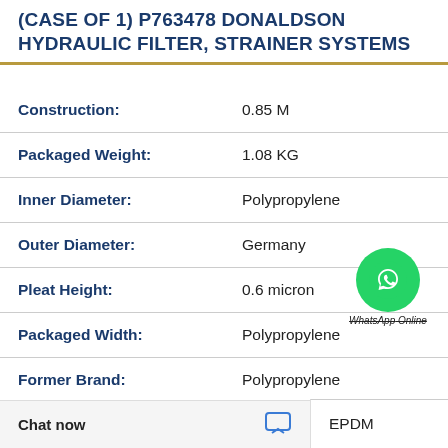(CASE OF 1) P763478 DONALDSON HYDRAULIC FILTER, STRAINER SYSTEMS
| Property | Value |
| --- | --- |
| Construction: | 0.85 M |
| Packaged Weight: | 1.08 KG |
| Inner Diameter: | Polypropylene |
| Outer Diameter: | Germany |
| Pleat Height: | 0.6 micron |
| Packaged Width: | Polypropylene |
| Former Brand: | Polypropylene |
EPDM
Chat now